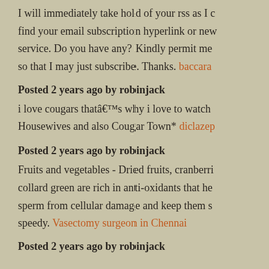I will immediately take hold of your rss as I c find your email subscription hyperlink or new service. Do you have any? Kindly permit me so that I may just subscribe. Thanks. baccara
Posted 2 years ago by robinjack
i love cougars thatâ€™s why i love to watch Housewives and also Cougar Town* diclazep
Posted 2 years ago by robinjack
Fruits and vegetables - Dried fruits, cranberri collard green are rich in anti-oxidants that he sperm from cellular damage and keep them s speedy. Vasectomy surgeon in Chennai
Posted 2 years ago by robinjack